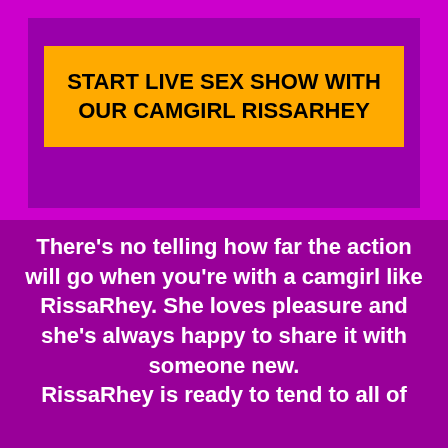START LIVE SEX SHOW WITH OUR CAMGIRL RISSARHEY
There’s no telling how far the action will go when you’re with a camgirl like RissaRhey. She loves pleasure and she’s always happy to share it with someone new. RissaRhey is ready to tend to all of